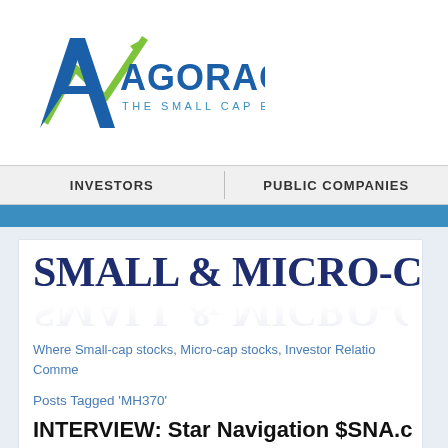[Figure (logo): AGORACOM logo — blue letter A with green upward arrow chart line, text 'AGORACOM THE SMALL CAP EPICENTER']
INVESTORS | PUBLIC COMPANIES
SMALL & MICRO-CA
Where Small-cap stocks, Micro-cap stocks, Investor Relatio... Comme...
Posts Tagged 'MH370'
INTERVIEW: Star Navigation $SNA.c... Real-Time Flight Tracking Technology...